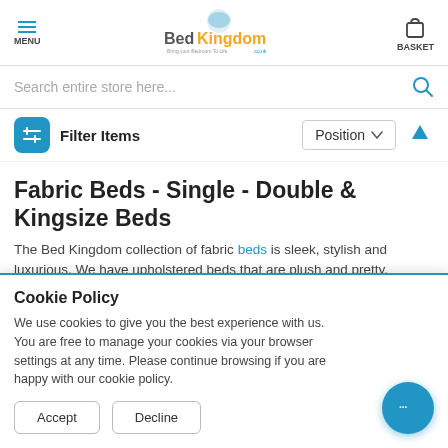MENU | BedKingdom | BASKET
Search entire store here...
Filter Items | Position
Fabric Beds - Single - Double & Kingsize Beds
The Bed Kingdom collection of fabric beds is sleek, stylish and luxurious. We have upholstered beds that are plush and pretty, decadent and dramatic, and chic and classic. Our collection is
Cookie Policy
We use cookies to give you the best experience with us. You are free to manage your cookies via your browser settings at any time. Please continue browsing if you are happy with our cookie policy.
Accept | Decline